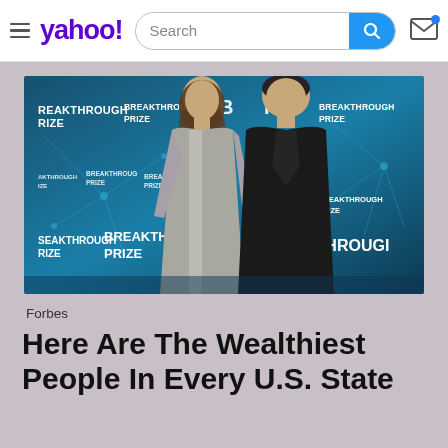yahoo! [Search] [mail icon]
[Figure (photo): Two people posing in front of a Breakthrough Prize event backdrop. A woman in a silver/metallic dress and a man in a dark suit standing together at what appears to be the Breakthrough Prize ceremony. The backdrop features the 'BREAKTHROUGH PRIZE' logo repeated multiple times on a dark blue background with neural network graphic designs.]
Forbes
Here Are The Wealthiest People In Every U.S. State